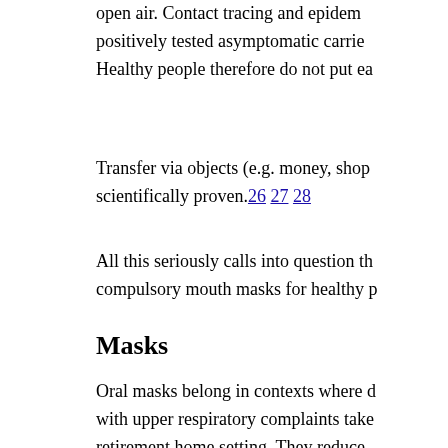open air. Contact tracing and epidemi... positively tested asymptomatic carrier... Healthy people therefore do not put ea...
Transfer via objects (e.g. money, shop... scientifically proven. 26 27 28
All this seriously calls into question th... compulsory mouth masks for healthy p...
Masks
Oral masks belong in contexts where d... with upper respiratory complaints take... retirement home setting. They reduce ... coughing. Oral masks in healthy indiv... infections. 29 30 31
Wearing a mask is not without side eff... nausea, fatigue, loss of concentration)...